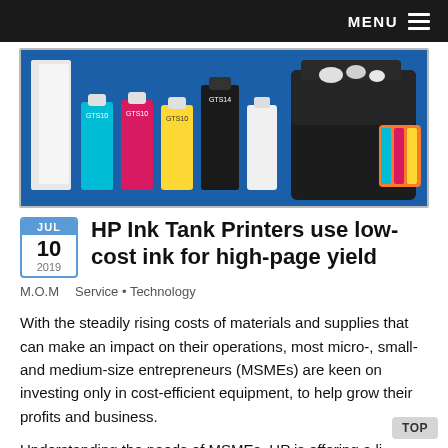MENU
[Figure (photo): HP Ink Tank printer with GTS ink bottles (cyan, magenta, yellow, black) on a blue background, with the printer unit on the right side showing color ink tanks.]
HP Ink Tank Printers use low-cost ink for high-page yield
JUL 10 2019
M.O.M   Service • Technology
With the steadily rising costs of materials and supplies that can make an impact on their operations, most micro-, small- and medium-size entrepreneurs (MSMEs) are keen on investing only in cost-efficient equipment, to help grow their profits and business.
Understanding the needs of MSMEs, HP is offering a li...